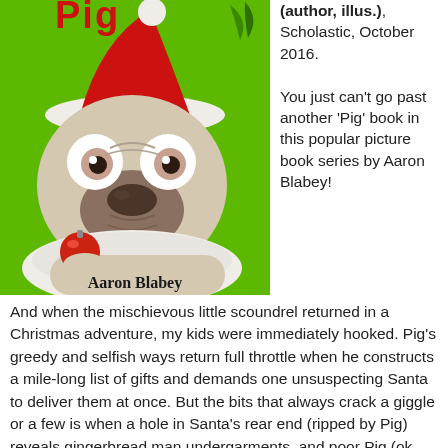[Figure (illustration): Book cover of a Christmas Pig book by Aaron Blabey, showing a pug dog wearing a Santa hat and holding a red ornament, on a bright green background with the author name 'Aaron Blabey' at the bottom.]
(author, illus.), Scholastic, October 2016.

You just can't go past another 'Pig' book in this popular picture book series by Aaron Blabey!
And when the mischievous little scoundrel returned in a Christmas adventure, my kids were immediately hooked. Pig's greedy and selfish ways return full throttle when he constructs a mile-long list of gifts and demands one unsuspecting Santa to deliver them at once. But the bits that always crack a giggle or a few is when a hole in Santa's rear end (ripped by Pig) reveals gingerbread man undergarments, and poor Pig (ok, maybe he deserves it) goes tumbling to his (ironically) angelic